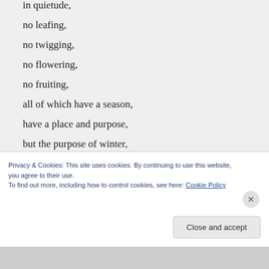in quietude,
no leafing,
no twigging,
no flowering,
no fruiting,
all of which have a season,
have a place and purpose,
but the purpose of winter,
this is different.
Winter now,
Privacy & Cookies: This site uses cookies. By continuing to use this website, you agree to their use.
To find out more, including how to control cookies, see here: Cookie Policy